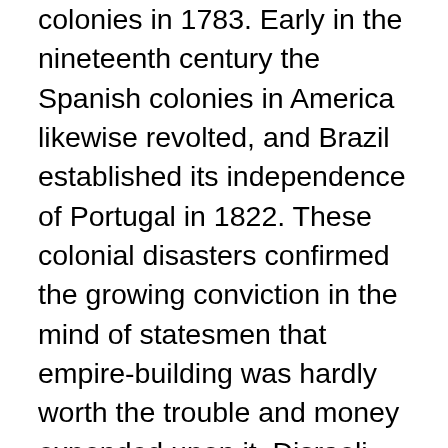colonies in 1783. Early in the nineteenth century the Spanish colonies in America likewise revolted, and Brazil established its independence of Portugal in 1822. These colonial disasters confirmed the growing conviction in the mind of statesmen that empire-building was hardly worth the trouble and money expended upon it. Disraeli echoed the prevailing mood of apathy and discouragement when he said, “These wretched colonies will be independent in a few years and are like a millstone around our necks.” Lastly, the mercantile theory that colonies were beneficial and necessary to the mother-country was gradually losing its appeal on account of the sharp criticisms directed against it by Turgot and Adam Smith who